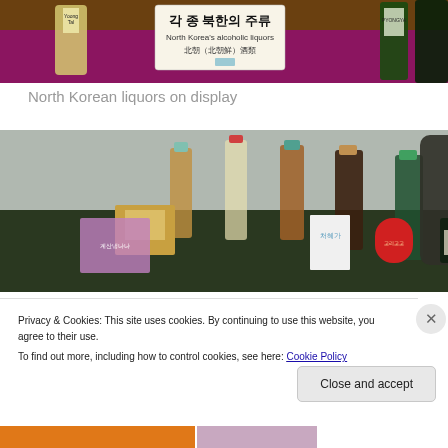[Figure (photo): Photo showing North Korean alcoholic liquor bottles on display with a sign reading '각종 북한의 주류 / North Korea's alcoholic liquors / 北朝（北朝鮮）酒類']
North Korean liquors on display
[Figure (photo): Photo showing various North Korean liquor bottles and food products arranged on a green surface against a grey background]
Privacy & Cookies: This site uses cookies. By continuing to use this website, you agree to their use.
To find out more, including how to control cookies, see here: Cookie Policy